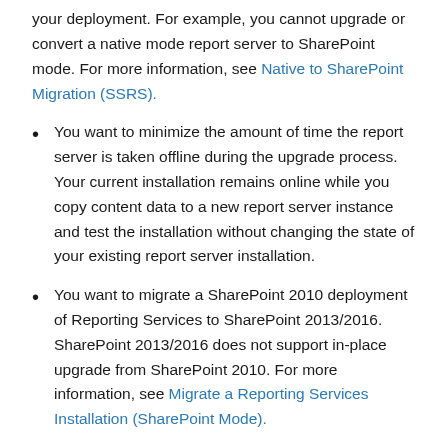your deployment. For example, you cannot upgrade or convert a native mode report server to SharePoint mode. For more information, see Native to SharePoint Migration (SSRS).
You want to minimize the amount of time the report server is taken offline during the upgrade process. Your current installation remains online while you copy content data to a new report server instance and test the installation without changing the state of your existing report server installation.
You want to migrate a SharePoint 2010 deployment of Reporting Services to SharePoint 2013/2016. SharePoint 2013/2016 does not support in-place upgrade from SharePoint 2010. For more information, see Migrate a Reporting Services Installation (SharePoint Mode).